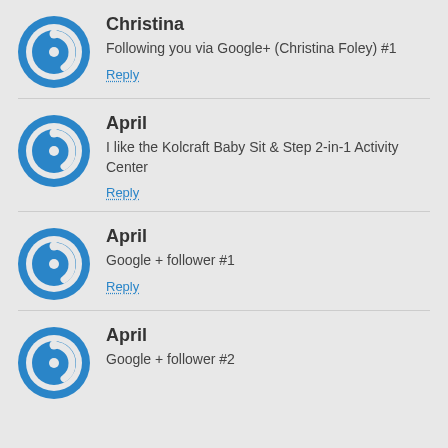Christina
Following you via Google+ (Christina Foley) #1
Reply
April
I like the Kolcraft Baby Sit & Step 2-in-1 Activity Center
Reply
April
Google + follower #1
Reply
April
Google + follower #2